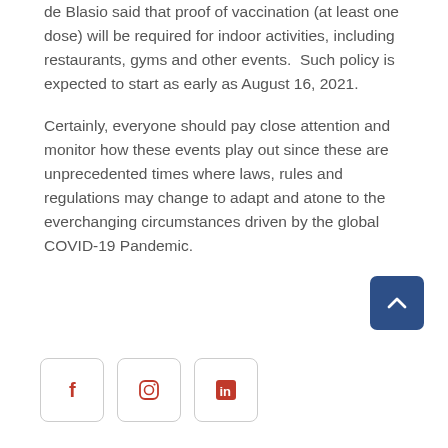de Blasio said that proof of vaccination (at least one dose) will be required for indoor activities, including restaurants, gyms and other events.  Such policy is expected to start as early as August 16, 2021.

Certainly, everyone should pay close attention and monitor how these events play out since these are unprecedented times where laws, rules and regulations may change to adapt and atone to the everchanging circumstances driven by the global COVID-19 Pandemic.
[Figure (other): Scroll-to-top button: dark blue rounded square with an upward-pointing chevron arrow]
[Figure (other): Social media icons row: Facebook (f), Instagram (camera), LinkedIn (in) — each in a rounded square outline]